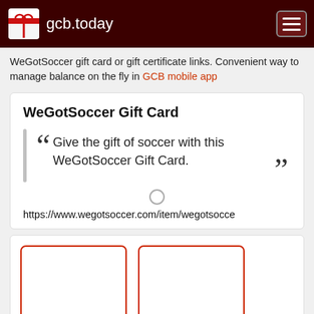gcb.today
WeGotSoccer gift card or gift certificate links. Convenient way to manage balance on the fly in GCB mobile app
WeGotSoccer Gift Card
Give the gift of soccer with this WeGotSoccer Gift Card.
https://www.wegotsoccer.com/item/wegotsocce
[Figure (other): Two red-bordered rectangular card placeholders side by side]